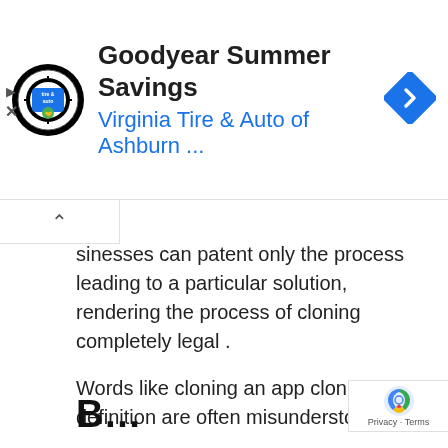[Figure (screenshot): Advertisement banner for Goodyear Summer Savings by Virginia Tire & Auto of Ashburn, with logo circle, title text, blue subtitle, and blue diamond navigation arrow icon]
sinesses can patent only the process leading to a particular solution, rendering the process of cloning completely legal .
Words like cloning an app cloning by definition are often misunderstood.
It means that they take ideas from different apps and combine them to create a different app.
There can be some similarities between the original and your clone solution, but your solution should have new and additional featu to differentiate between the two.
Benefits of cl...